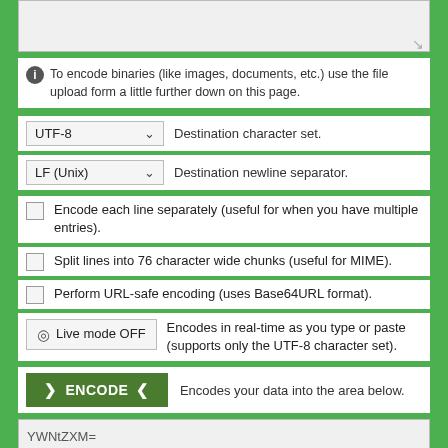[Figure (screenshot): A textarea input box (top, partially visible, gray background with resize handle)]
ℹ To encode binaries (like images, documents, etc.) use the file upload form a little further down on this page.
UTF-8  ▾   Destination character set.
LF (Unix)  ▾   Destination newline separator.
Encode each line separately (useful for when you have multiple entries).
Split lines into 76 character wide chunks (useful for MIME).
Perform URL-safe encoding (uses Base64URL format).
⊙  Live mode OFF   Encodes in real-time as you type or paste (supports only the UTF-8 character set).
> ENCODE <   Encodes your data into the area below.
[Figure (screenshot): A textarea output box showing encoded value YWNtZXM= on gray background]